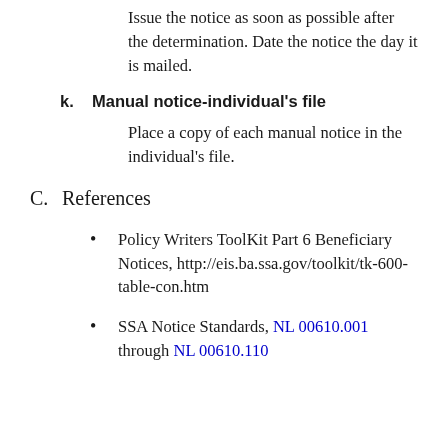Issue the notice as soon as possible after the determination. Date the notice the day it is mailed.
k. Manual notice-individual's file
Place a copy of each manual notice in the individual's file.
C. References
Policy Writers ToolKit Part 6 Beneficiary Notices, http://eis.ba.ssa.gov/toolkit/tk-600-table-con.htm
SSA Notice Standards, NL 00610.001 through NL 00610.110